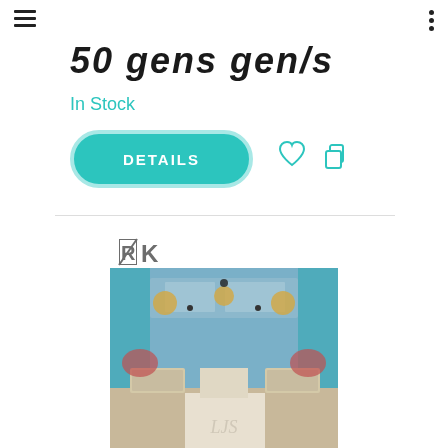Navigation header with hamburger menu and dots menu
50 gens gen/s
In Stock
DETAILS
[Figure (logo): RK logo - stylized letters R and K in grey]
[Figure (photo): Wedding venue ballroom with teal/blue uplighting, chandeliers, banquet tables set for reception, white dance floor with monogram]